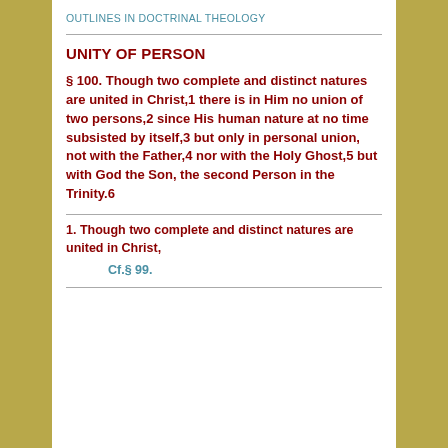OUTLINES IN DOCTRINAL THEOLOGY
UNITY OF PERSON
§ 100. Though two complete and distinct natures are united in Christ,1 there is in Him no union of two persons,2 since His human nature at no time subsisted by itself,3 but only in personal union, not with the Father,4 nor with the Holy Ghost,5 but with God the Son, the second Person in the Trinity.6
1. Though two complete and distinct natures are united in Christ,
Cf.§ 99.